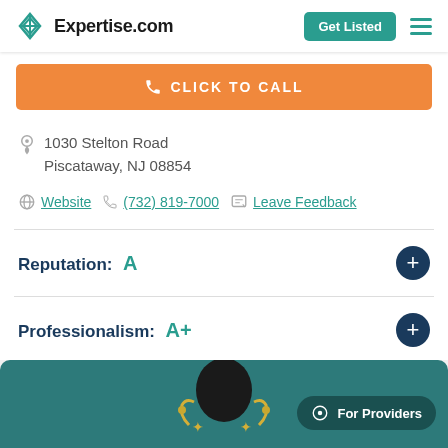Expertise.com
CLICK TO CALL
1030 Stelton Road
Piscataway, NJ 08854
Website   (732) 819-7000   Leave Feedback
Reputation: A
Professionalism: A+
For Providers